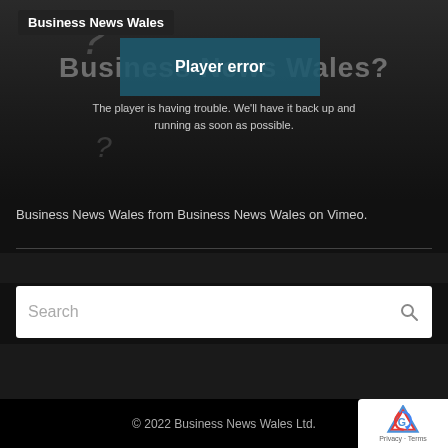[Figure (screenshot): Video player showing 'Player error' overlay on a 'Who reads Business News Wales?' thumbnail. The player displays error text: 'The player is having trouble. We'll have it back up and running as soon as possible.']
Business News Wales from Business News Wales on Vimeo.
Search
© 2022 Business News Wales Ltd.